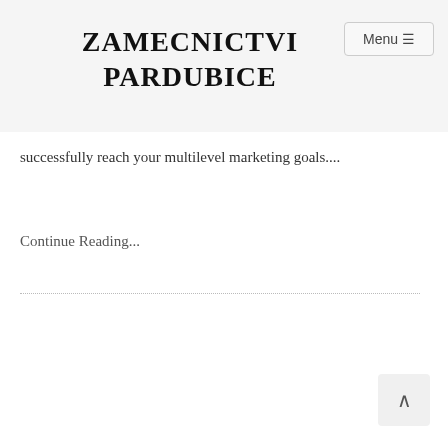ZAMECNICTVI PARDUBICE
Menu ☰
successfully reach your multilevel marketing goals....
Continue Reading...